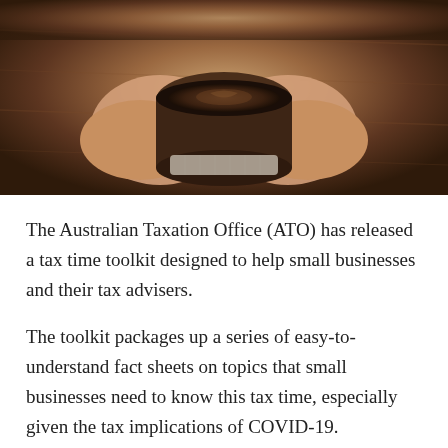[Figure (photo): Hands holding a cup of coffee or tea from above, on a wooden table background, warm tones]
The Australian Taxation Office (ATO) has released a tax time toolkit designed to help small businesses and their tax advisers.
The toolkit packages up a series of easy-to-understand fact sheets on topics that small businesses need to know this tax time, especially given the tax implications of COVID-19.
“As we all continue to navigate the COVID-19 pandemic, we completely appreciate that it’s a really tough time for many small businesses. Our job is to continue to support businesses who need